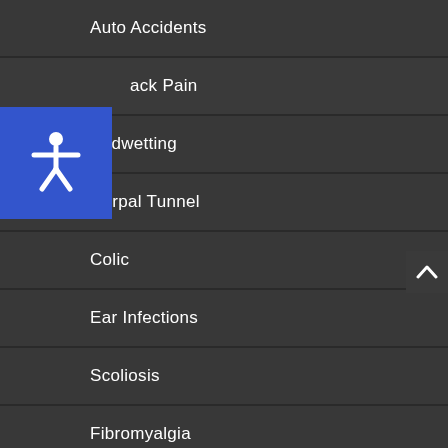Auto Accidents
Back Pain
Bedwetting
Carpal Tunnel
Colic
Ear Infections
Scoliosis
Fibromyalgia
Headaches